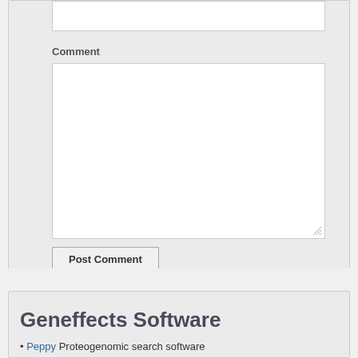Comment
[Figure (screenshot): Comment textarea input box (empty white rectangle with resize handle)]
Post Comment
Geneffects Software
Peppy Proteogenomic search software